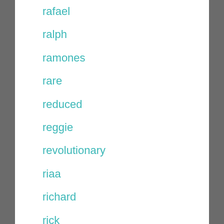rafael
ralph
ramones
rare
reduced
reggie
revolutionary
riaa
richard
rick
rider
rihanna
ringo
rise